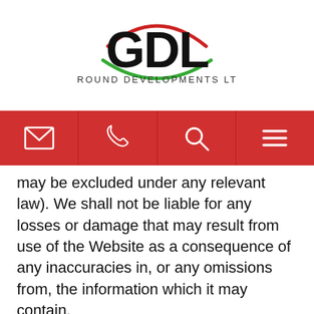[Figure (logo): GDL Ground Developments Ltd logo with red and green arc design above bold GDL text]
[Figure (other): Navigation bar with four icons: envelope (email), phone, search, and hamburger menu on red background]
may be excluded under any relevant law). We shall not be liable for any losses or damage that may result from use of the Website as a consequence of any inaccuracies in, or any omissions from, the information which it may contain.
The copyright in the content published on the Website is owned by us or our third party content suppliers, as appropriate. Images, trade marks and brands are also protected by other intellectual property laws and may not be